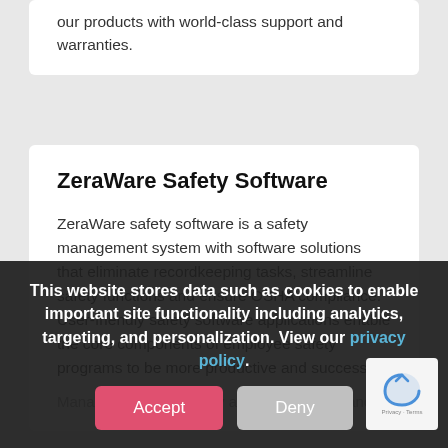our products with world-class support and warranties.
ZeraWare Safety Software
ZeraWare safety software is a safety management system with software solutions that eliminate recordkeeping tasks, streamline safety functions and ensure OSHA compliance. User-friendly safety software applications enable the core components of employee safety programs to be more productive and successful.
Manage employee safety and OSHA compliance
This website stores data such as cookies to enable important site functionality including analytics, targeting, and personalization. View our privacy policy.